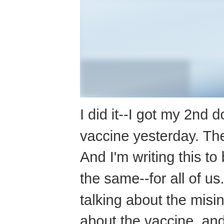[Figure (photo): A blurry, out-of-focus medical/hospital image with blue tones, appearing to show a medical professional or clinical setting with a syringe or medical instrument visible on the right side.]
I did it--I got my 2nd dose of the Pfizer COVID-19 vaccine yesterday. The first dose was back in December. And I'm writing this to beg you, dear reader, to please do the same--for all of us. My hospital supervisor and I were talking about the misinformation and fear that's out there about the vaccine, and recommended that I post so that at least I'm one more